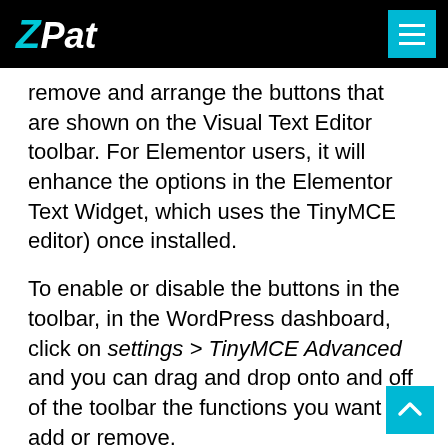ZPat
remove and arrange the buttons that are shown on the Visual Text Editor toolbar. For Elementor users, it will enhance the options in the Elementor Text Widget, which uses the TinyMCE editor) once installed.
To enable or disable the buttons in the toolbar, in the WordPress dashboard, click on settings > TinyMCE Advanced and you can drag and drop onto and off of the toolbar the functions you want to add or remove.